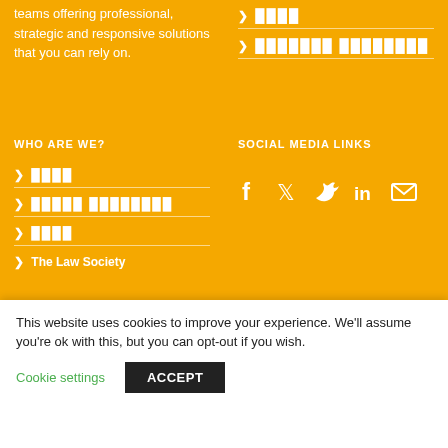teams offering professional, strategic and responsive solutions that you can rely on.
████
███████ ████████
WHO ARE WE?
████
█████ ████████
████
The Law Society
SOCIAL MEDIA LINKS
[Figure (infographic): Social media icons: Facebook, Twitter, LinkedIn, Email]
This website uses cookies to improve your experience. We'll assume you're ok with this, but you can opt-out if you wish.
Cookie settings   ACCEPT